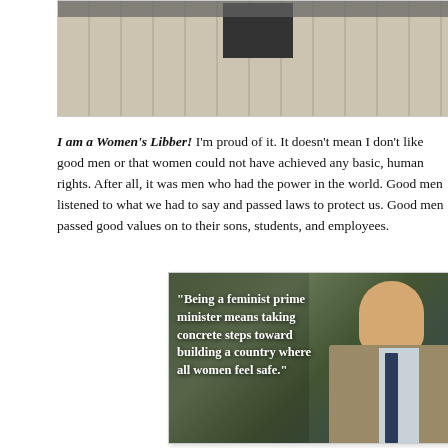[Figure (photo): Partial photo at top of page showing what appears to be stadium or bleacher seating with a figure visible]
I am a Women's Libber! I'm proud of it. It doesn't mean I don't like good men or that women could not have achieved any basic, human rights. After all, it was men who had the power in the world. Good men listened to what we had to say and passed laws to protect us. Good men passed good values on to their sons, students, and employees.
[Figure (photo): Photo of a man in a tan/camel coat with a blue tie, with overlaid quote text reading: "Being a feminist prime minister means taking concrete steps toward building a country where all women feel safe."]